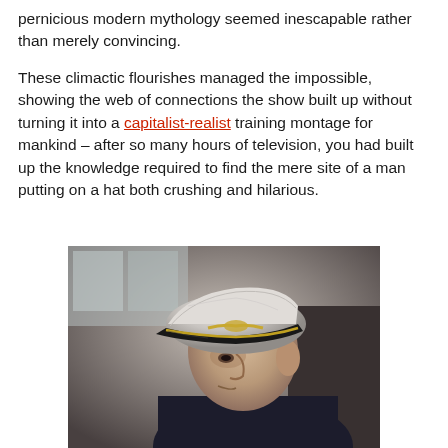pernicious modern mythology seemed inescapable rather than merely convincing.
These climactic flourishes managed the impossible, showing the web of connections the show built up without turning it into a capitalist-realist training montage for mankind – after so many hours of television, you had built up the knowledge required to find the mere site of a man putting on a hat both crushing and hilarious.
[Figure (photo): Black and white photograph of an elderly man in profile wearing a white naval officer's cap with gold emblem and black brim, dressed in a dark uniform, viewed from the side in a dimly lit interior setting.]